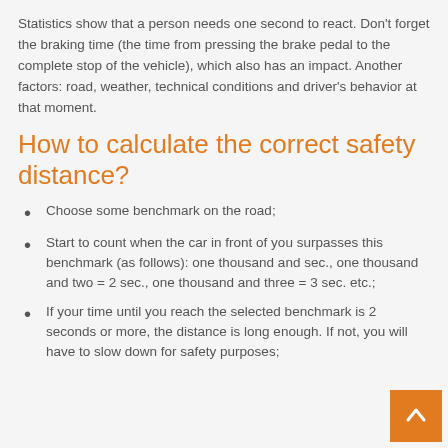Statistics show that a person needs one second to react. Don't forget the braking time (the time from pressing the brake pedal to the complete stop of the vehicle), which also has an impact. Another factors: road, weather, technical conditions and driver's behavior at that moment.
How to calculate the correct safety distance?
Choose some benchmark on the road;
Start to count when the car in front of you surpasses this benchmark (as follows): one thousand and one = 1 sec., one thousand and two = 2 sec., one thousand and three = 3 sec. etc.;
If your time until you reach the selected benchmark is 2 seconds or more, the distance is long enough. If not, you will have to slow down for safety purposes;